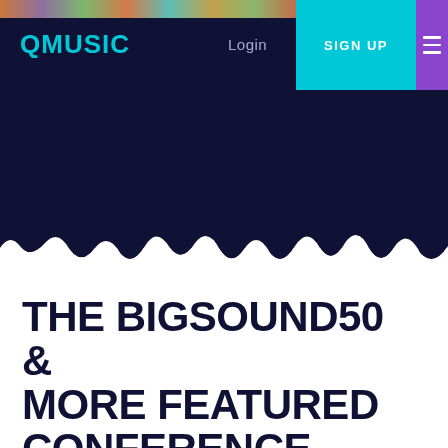[Figure (photo): Horizontal photo strip showing multiple artists/performers at the top of the page]
QMUSIC  Login  SIGN UP
THE BIGSOUND50 & MORE FEATURED CONFERENCE SPEAKERS REVEALED